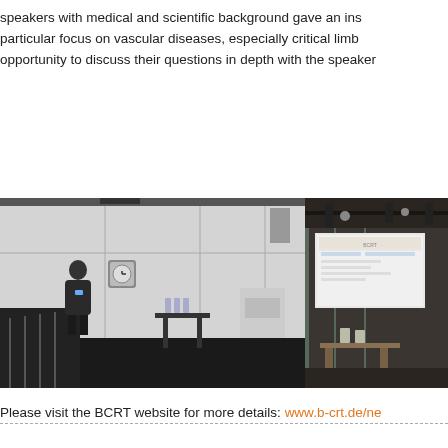speakers with medical and scientific background gave an ins particular focus on vascular diseases, especially critical limb opportunity to discuss their questions in depth with the speaker
[Figure (photo): A man standing in a modern room with white walls and panels, a wall clock, and a small table with bottles on it. The room appears to be a conference or event space.]
[Figure (photo): A presentation room with a projected screen showing a slide, industrial ceiling with exposed beams and lights, and some furniture.]
Please visit the BCRT website for more details: www.b-crt.de/ne